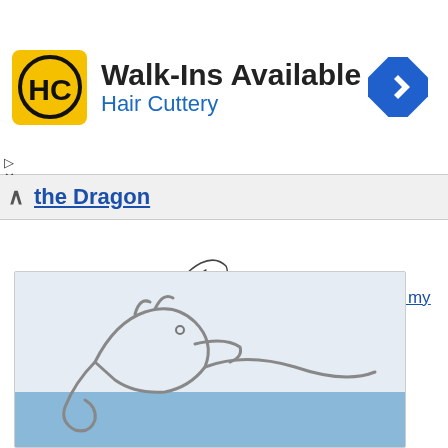[Figure (other): Hair Cuttery advertisement banner with HC logo in yellow square, 'Walk-Ins Available' heading, and 'Hair Cuttery' subtitle in blue, plus a blue diamond navigation icon]
the Dragon
[Figure (illustration): Pencil sketch drawing of a dragon in reclining pose, with faint watermark/background version behind it]
Please improve my Drawing with Shading! The printable is near bottom of shading drill page
🔑 Member's Login | DY's Blog
[Figure (illustration): Partial view of a dragon outline drawing on light blue/grey background, showing head and body curves]